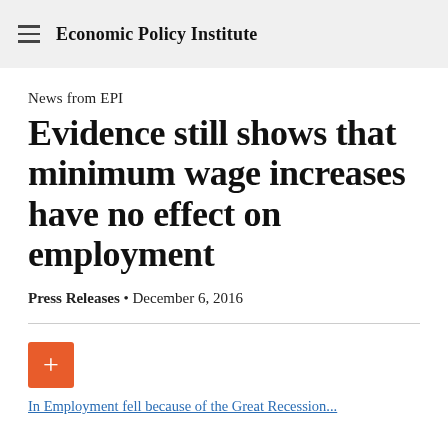Economic Policy Institute
News from EPI
Evidence still shows that minimum wage increases have no effect on employment
Press Releases • December 6, 2016